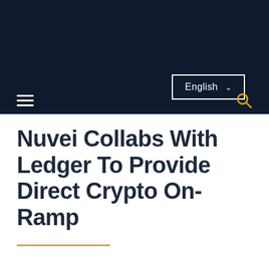English
Nuvei Collabs With Ledger To Provide Direct Crypto On-Ramp